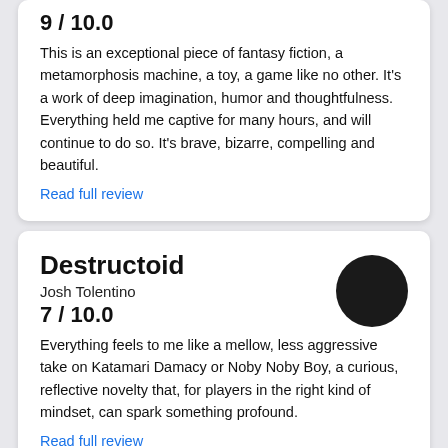9 / 10.0
This is an exceptional piece of fantasy fiction, a metamorphosis machine, a toy, a game like no other. It's a work of deep imagination, humor and thoughtfulness. Everything held me captive for many hours, and will continue to do so. It's brave, bizarre, compelling and beautiful.
Read full review
Destructoid
Josh Tolentino
7 / 10.0
Everything feels to me like a mellow, less aggressive take on Katamari Damacy or Noby Noby Boy, a curious, reflective novelty that, for players in the right kind of mindset, can spark something profound.
Read full review